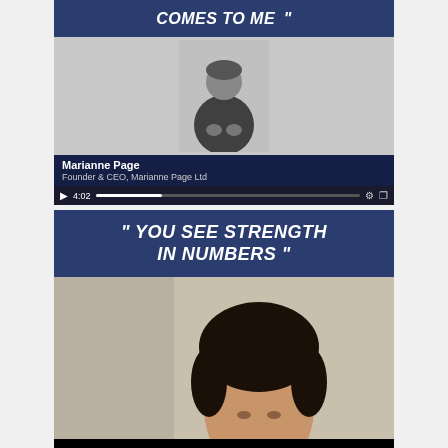[Figure (screenshot): Video thumbnail screenshot of Marianne Page, Founder & CEO of Marianne Page Ltd, with quote bar 'COMES TO ME' at top, black and white photo of woman seated, name bar, and video controls showing 4:02]
[Figure (screenshot): Video thumbnail screenshot with dark blue quote bar reading '" YOU SEE STRENGTH IN NUMBERS "' and partial photo of a woman below]